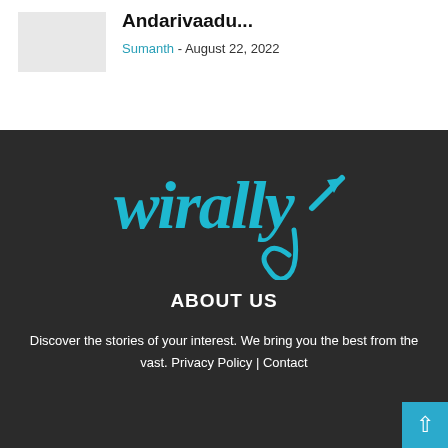[Figure (photo): Gray placeholder thumbnail image for an article]
Andarivaadu...
Sumanth - August 22, 2022
[Figure (logo): Wirally logo in teal/cyan color on dark background, stylized script font with an upward arrow]
ABOUT US
Discover the stories of your interest. We bring you the best from the vast. Privacy Policy | Contact